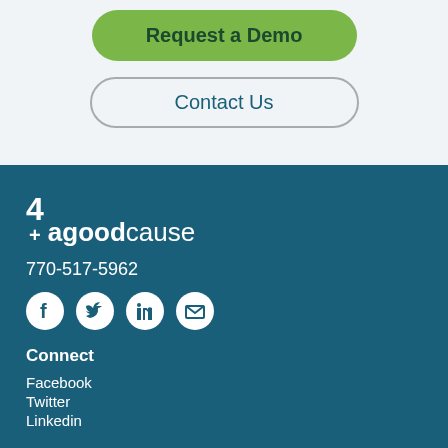Request a Demo
Contact Us
[Figure (logo): 4agoodcause logo with 4+ symbol]
770-517-5962
[Figure (illustration): Social media icons: Facebook, Twitter, LinkedIn, Email]
Connect
Facebook
Twitter
Linkedin